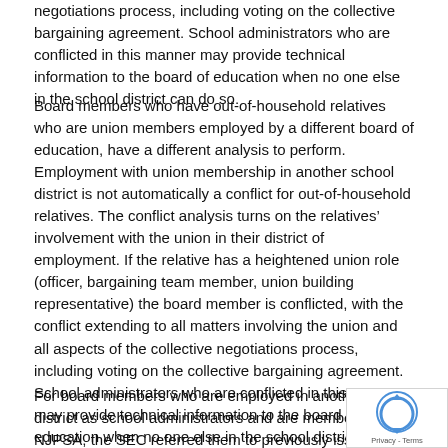negotiations process, including voting on the collective bargaining agreement. School administrators who are conflicted in this manner may provide technical information to the board of education when no one else in the school district can do so.
Board members who have out-of-household relatives who are union members employed by a different board of education, have a different analysis to perform. Employment with union membership in another school district is not automatically a conflict for out-of-household relatives. The conflict analysis turns on the relatives' involvement with the union in their district of employment. If the relative has a heightened union role (officer, bargaining team member, union building representative) the board member is conflicted, with the conflict extending to all matters involving the union and all aspects of the collective negotiations process, including voting on the collective bargaining agreement. School administrators who are conflicted in this manner may provide technical information to the board of education when no one else in the school district can do so.
For board members who are employed in another school district as school administrators and are members of the NJPSA, the SEC referred them to previously issued public